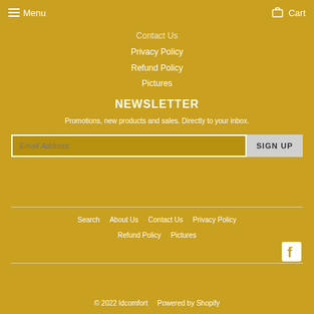Menu  Cart
Contact Us
Privacy Policy
Refund Policy
Pictures
NEWSLETTER
Promotions, new products and sales. Directly to your inbox.
Email Address  SIGN UP
Search
About Us
Contact Us
Privacy Policy
Refund Policy
Pictures
[Figure (logo): Facebook social media icon (white F on dark square)]
© 2022 ldcomfort   Powered by Shopify